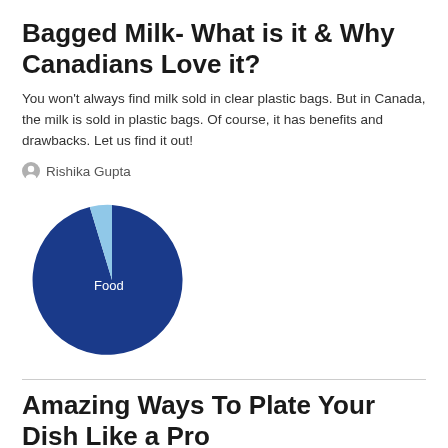Bagged Milk- What is it & Why Canadians Love it?
You won't always find milk sold in clear plastic bags. But in Canada, the milk is sold in plastic bags. Of course, it has benefits and drawbacks. Let us find it out!
Rishika Gupta
[Figure (pie-chart): A pie/donut-style chart with a large dark blue section labeled 'Food' and a small light blue section]
Amazing Ways To Plate Your Dish Like a Pro
Cooking is one of the most loved activities by men and women